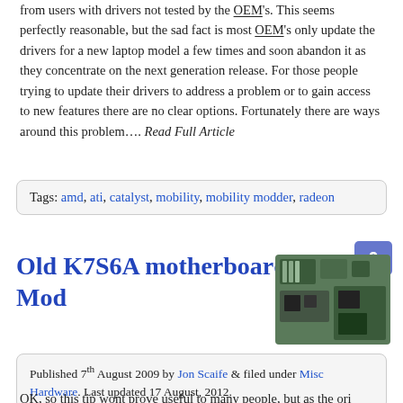from users with drivers not tested by the OEM's. This seems perfectly reasonable, but the sad fact is most OEM's only update the drivers for a new laptop model a few times and soon abandon it as they concentrate on the next generation release. For those people trying to update their drivers to address a problem or to gain access to new features there are no clear options. Fortunately there are ways around this problem…. Read Full Article
Tags: amd, ati, catalyst, mobility, mobility modder, radeon
Old K7S6A motherboard Mod
[Figure (photo): Photo of a motherboard/circuit board with a comment count badge showing 0]
Published 7th August 2009 by Jon Scaife & filed under Misc Hardware. Last updated 17 August, 2012.
OK, so this tip wont prove useful to many people, but as the ori